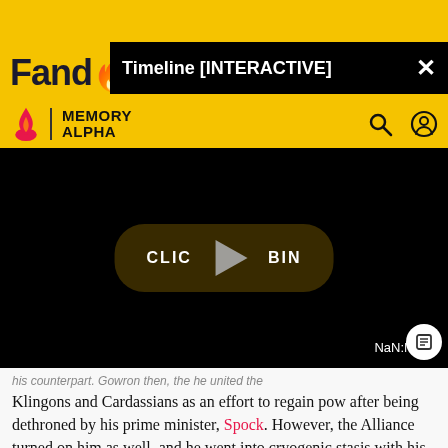[Figure (screenshot): Fandom / Memory Alpha website screenshot showing a yellow header with the Fandom logo, Memory Alpha branding, a black overlay banner with text 'Timeline [INTERACTIVE]' and close button, a black video player area with a 'CLICK TO BEGIN' button overlay, a play triangle icon, and a NaN:NaN time display. Below is article text about Klingons and Cardassians, Spock, the Alliance, and cryogenic stasis.]
Fandom | Memory Alpha
Timeline [INTERACTIVE] ×
NaN:NaN
his counterpart. Gowron then, the he united the Klingons and Cardassians as an effort to regain pow after being dethroned by his prime minister, Spock. However, the Alliance turned on him as well, and he went into cryogenic stasis with his loyal generals for what was intended to be a one-year journey - which